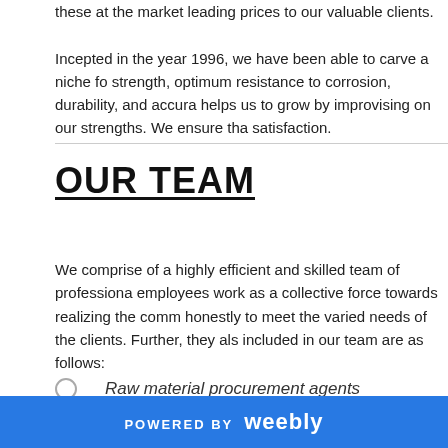these at the market leading prices to our valuable clients.

Incepted in the year 1996, we have been able to carve a niche for strength, optimum resistance to corrosion, durability, and accuracy helps us to grow by improvising on our strengths. We ensure that satisfaction.
OUR TEAM
We comprise of a highly efficient and skilled team of professionals employees work as a collective force towards realizing the common honestly to meet the varied needs of the clients. Further, they also included in our team are as follows:
Raw material procurement agents
Engineers & technicians
POWERED BY weebly